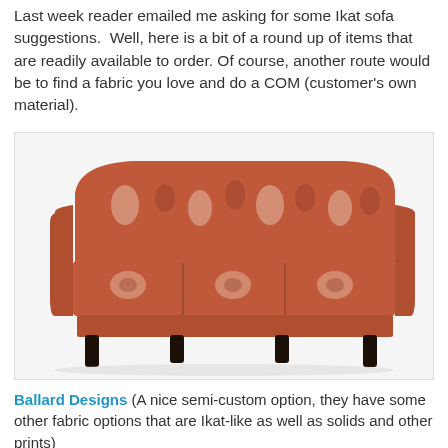Last week reader emailed me asking for some Ikat sofa suggestions. Well, here is a bit of a round up of items that are readily available to order. Of course, another route would be to find a fabric you love and do a COM (customer's own material).
[Figure (photo): Red/coral ikat patterned sofa with dark wood legs, shown on white background]
Ballard Designs (A nice semi-custom option, they have some other fabric options that are Ikat-like as well as solids and other prints)
[Figure (photo): Grey geometric patterned sofa, partial view showing top portion, on white background]